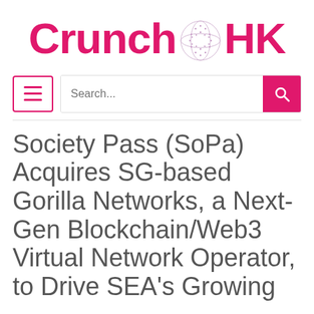[Figure (logo): CrunchHK logo with globe icon between 'Crunch' and 'HK' in pink/magenta color]
[Figure (screenshot): Navigation bar with hamburger menu button outlined in pink, search input field with placeholder 'Search...', and pink search button with magnifier icon]
Society Pass (SoPa) Acquires SG-based Gorilla Networks, a Next-Gen Blockchain/Web3 Virtual Network Operator, to Drive SEA's Growing